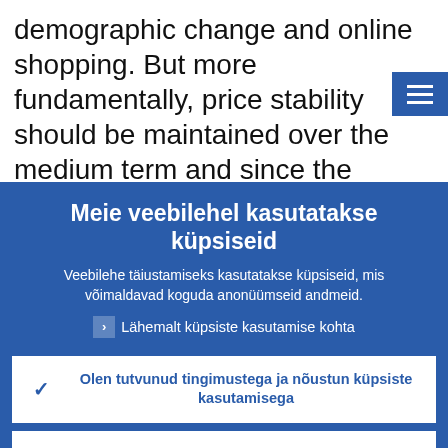demographic change and online shopping. But more fundamentally, price stability should be maintained over the medium term and since the euro's introduction, the
Meie veebilehel kasutatakse küpsiseid
Veebilehe täiustamiseks kasutatakse küpsiseid, mis võimaldavad koguda anonüümseid andmeid.
› Lähemalt küpsiste kasutamise kohta
✓ Olen tutvunud tingimustega ja nõustun küpsiste kasutamisega
✗ Ei nõustu küpsiste kasutamisega